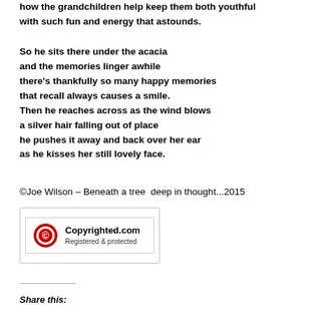how the grandchildren help keep them both youthful
with such fun and energy that astounds.
So he sits there under the acacia
and the memories linger awhile
there's thankfully so many happy memories
that recall always causes a smile.
Then he reaches across as the wind blows
a silver hair falling out of place
he pushes it away and back over her ear
as he kisses her still lovely face.
©Joe Wilson – Beneath a tree  deep in thought...2015
[Figure (logo): Copyrighted.com badge — red circular copyright icon on left, text 'Copyrighted.com' in bold and 'Registered & protected' below, inside a bordered box]
Share this: